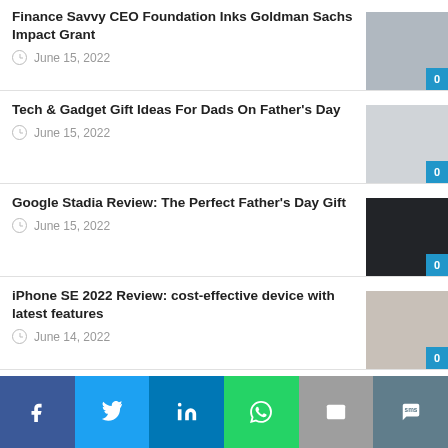Finance Savvy CEO Foundation Inks Goldman Sachs Impact Grant
June 15, 2022
Tech & Gadget Gift Ideas For Dads On Father's Day
June 15, 2022
Google Stadia Review: The Perfect Father's Day Gift
June 15, 2022
iPhone SE 2022 Review: cost-effective device with latest features
June 14, 2022